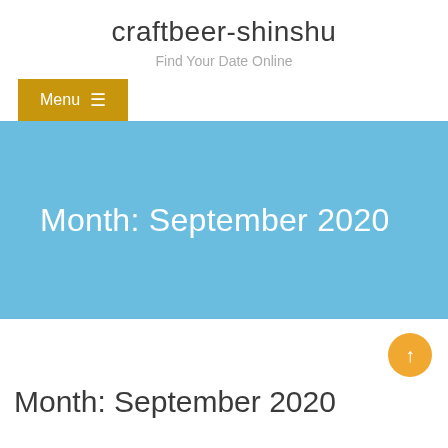craftbeer-shinshu
Find Your Date Online
Menu ☰
Month: September 2020
↑
Month: September 2020